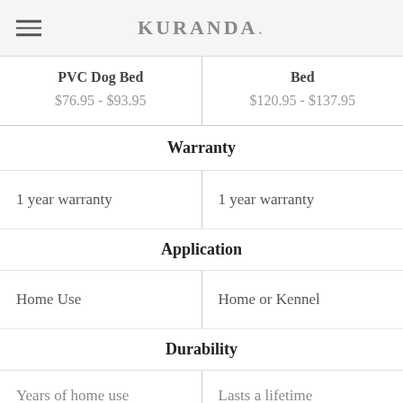KURANDA.
| PVC Dog Bed | Bed |
| --- | --- |
| $76.95 - $93.95 | $120.95 - $137.95 |
| Warranty | Warranty |
| 1 year warranty | 1 year warranty |
| Application | Application |
| Home Use | Home or Kennel |
| Durability | Durability |
| Years of home use | Lasts a lifetime |